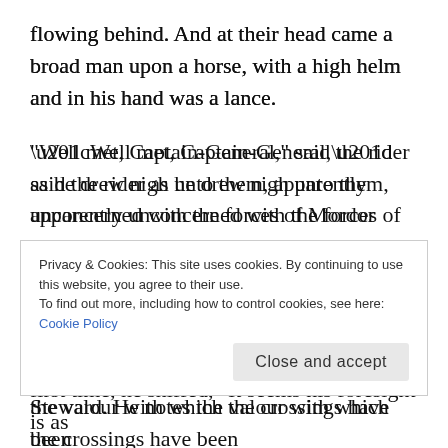flowing behind. And at their head came a broad man upon a horse, with a high helm and in his hand was a lance.
“Well met, Captain-General,” said the rider as he drew nigh unto them, apparently unconcerned with the forces of Mordor even now coming over the Bridge. He drew level with them and addressed them from his mount, even as the ranks of sable cloaks marched past. “I bring greetings from your father, the most noble Steward. He notes the valour with which the crossings have been
Privacy & Cookies: This site uses cookies. By continuing to use this website, you agree to their use.
To find out more, including how to control cookies, see here: Cookie Policy
Close and accept
first time, he sniffed, “It seems his foresight is as